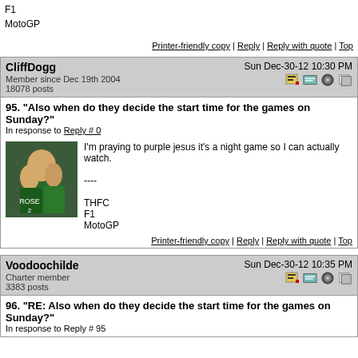F1
MotoGP
Printer-friendly copy | Reply | Reply with quote | Top
CliffDogg
Member since Dec 19th 2004
18078 posts
Sun Dec-30-12 10:30 PM
95. "Also when do they decide the start time for the games on Sunday?"
In response to Reply # 0
I'm praying to purple jesus it's a night game so I can actually watch.

----

THFC
F1
MotoGP
Printer-friendly copy | Reply | Reply with quote | Top
Voodoochilde
Charter member
3383 posts
Sun Dec-30-12 10:35 PM
96. "RE: Also when do they decide the start time for the games on Sunday?"
In response to Reply # 95